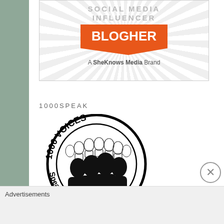[Figure (logo): BlogHer Social Media Influencer badge — orange speech bubble shape with 'BLOGHER' in white, 'A SheKnows Media Brand' below, radiating lines in background]
1000SPEAK
[Figure (logo): 1000 Voices Speak for Compassion circular logo — black and white illustration of crowd of people with bold text around the circle]
Advertisements